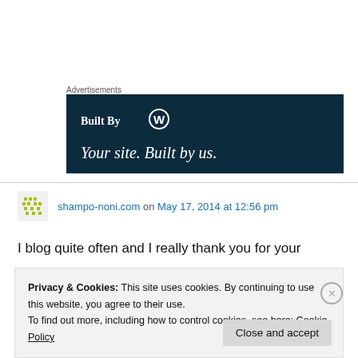Advertisements
[Figure (illustration): WordPress 'Built By' advertisement banner with dark navy background, WordPress logo, text 'Built By' and 'Your site. Built by us.']
shampo-noni.com on May 17, 2014 at 12:56 pm
I blog quite often and I really thank you for your
Privacy & Cookies: This site uses cookies. By continuing to use this website, you agree to their use.
To find out more, including how to control cookies, see here: Cookie Policy
Close and accept